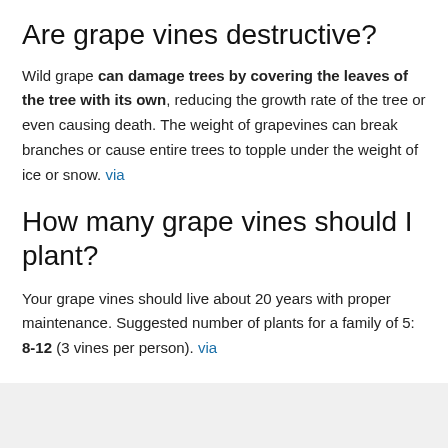Are grape vines destructive?
Wild grape can damage trees by covering the leaves of the tree with its own, reducing the growth rate of the tree or even causing death. The weight of grapevines can break branches or cause entire trees to topple under the weight of ice or snow. via
How many grape vines should I plant?
Your grape vines should live about 20 years with proper maintenance. Suggested number of plants for a family of 5: 8-12 (3 vines per person). via